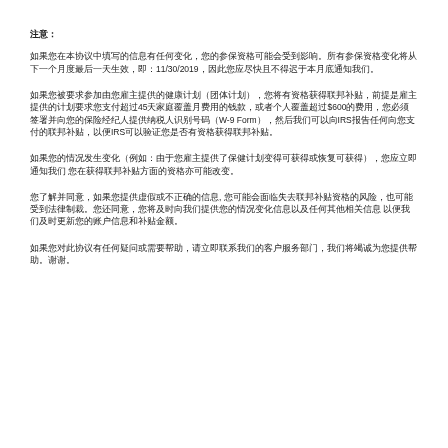注意:
如果您在本协议中填写的信息有任何变化，您的参保资格可能会受到影响。所有参保资格变化将从下一个月度最后一天生效，即：11/30/2019，因此您应尽快且不得迟于本月底通知我们。
如果您被要求参加由您雇主提供的健康计划（团体计划），您将有资格获得联邦补贴，前提是雇主提供的计划要求您支付超过45天家庭覆盖月费用的钱款，或者个人覆盖超过$600的费用，您必须签署并向您的保险经纪人提供纳税人识别号码（W-9 Form），然后我们可以向IRS报告任何向您支付的联邦补贴，以便IRS可以验证您是否有资格获得联邦补贴。
如果您的情况发生变化（例如：由于您雇主提供了保健计划变得可获得或恢复可获得），您应立即通知我们 您在获得联邦补贴方面的资格亦可能改变。
您了解并同意，如果您提供虚假或不正确的信息, 您可能会面临失去联邦补贴资格的风险，也可能受到法律制裁。您还同意，您将及时向我们提供您的情况变化信息以及任何其他相关信息 以便我们及时更新您的账户信息和补贴金额。
如果您对此协议有任何疑问或需要帮助，请立即联系我们的客户服务部门，我们将竭诚为您提供帮助。谢谢。